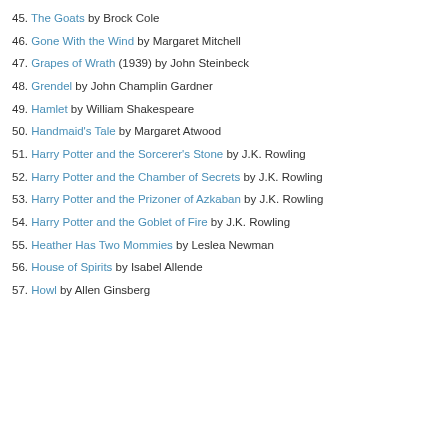45. The Goats by Brock Cole
46. Gone With the Wind by Margaret Mitchell
47. Grapes of Wrath (1939) by John Steinbeck
48. Grendel by John Champlin Gardner
49. Hamlet by William Shakespeare
50. Handmaid's Tale by Margaret Atwood
51. Harry Potter and the Sorcerer's Stone by J.K. Rowling
52. Harry Potter and the Chamber of Secrets by J.K. Rowling
53. Harry Potter and the Prizoner of Azkaban by J.K. Rowling
54. Harry Potter and the Goblet of Fire by J.K. Rowling
55. Heather Has Two Mommies by Leslea Newman
56. House of Spirits by Isabel Allende
57. Howl by Allen Ginsberg